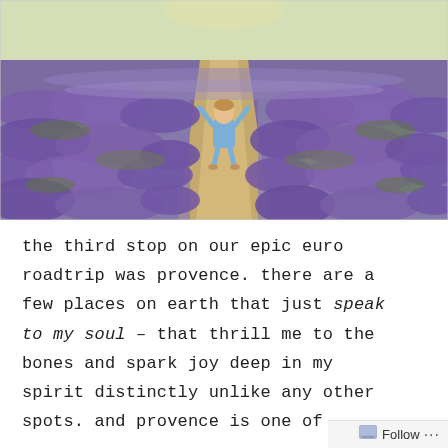[Figure (photo): A young toddler in denim overalls stands on a sandy path between rows of purple lavender fields stretching to the horizon, arms raised joyfully. Bright summer light.]
the third stop on our epic euro roadtrip was provence. there are a few places on earth that just speak to my soul – that thrill me to the bones and spark joy deep in my spirit distinctly unlike any other spots. and provence is one of
Follow ...